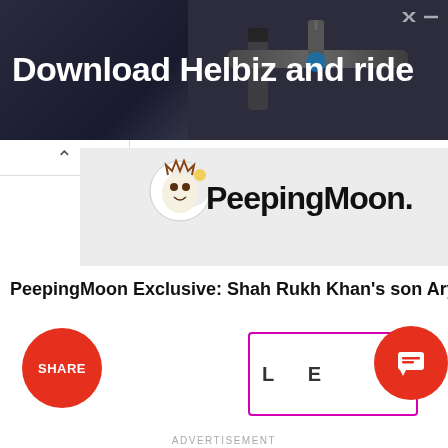[Figure (photo): Advertisement banner showing a scooter handlebar with text 'Download Helbiz and ride' on dark background with ad close button]
[Figure (logo): PeepingMoon website logo on gray background]
PeepingMoon Exclusive: Shah Rukh Khan’s son Aryan Khan’s debut
[Figure (infographic): Red circular SHARE button]
[Figure (infographic): Notification widget with pink/magenta border rectangle and red circle with chat icon, partially visible text 'L...E']